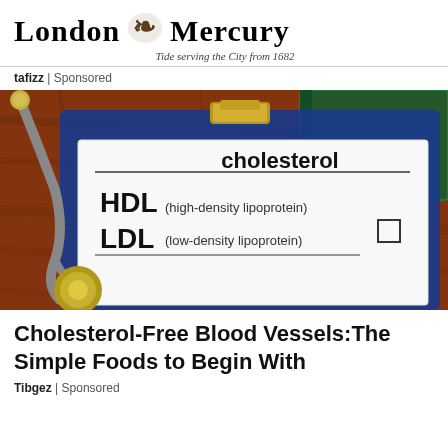[Figure (logo): London Mercury newspaper logo with decorative emblem and tagline 'Tide serving the City from 1682']
tafizz | Sponsored
[Figure (photo): A medical clipboard showing a cholesterol form with HDL (high-density lipoprotein) and LDL (low-density lipoprotein) checkboxes, a stethoscope, and a green book on a wooden table.]
Cholesterol-Free Blood Vessels:The Simple Foods to Begin With
Tibgez | Sponsored